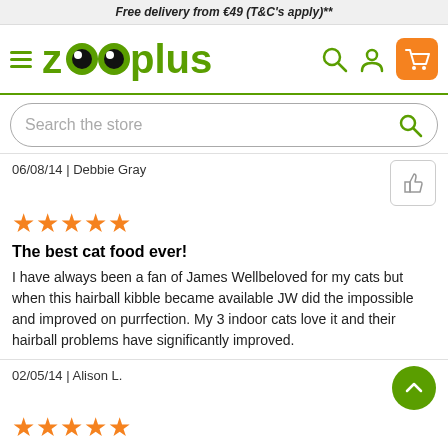Free delivery from €49 (T&C's apply)**
[Figure (logo): Zooplus logo with hamburger menu, search icon, user icon, and orange cart button]
[Figure (screenshot): Search bar with placeholder text 'Search the store' and search icon]
06/08/14 | Debbie Gray
[Figure (illustration): 5 orange stars rating]
The best cat food ever!
I have always been a fan of James Wellbeloved for my cats but when this hairball kibble became available JW did the impossible and improved on purrfection. My 3 indoor cats love it and their hairball problems have significantly improved.
02/05/14 | Alison L.
[Figure (illustration): 5 orange stars rating]
recommended by the vet
Our vet suggested this food for our cat with allergies. So far, it's